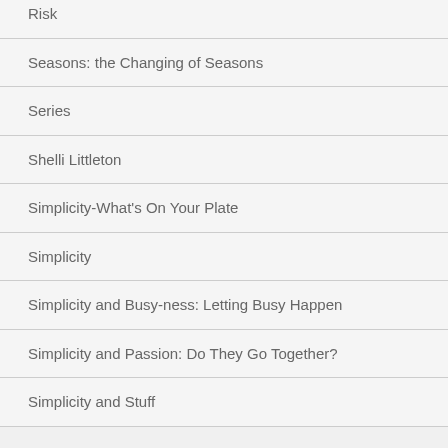Risk
Seasons: the Changing of Seasons
Series
Shelli Littleton
Simplicity-What's On Your Plate
Simplicity
Simplicity and Busy-ness: Letting Busy Happen
Simplicity and Passion: Do They Go Together?
Simplicity and Stuff